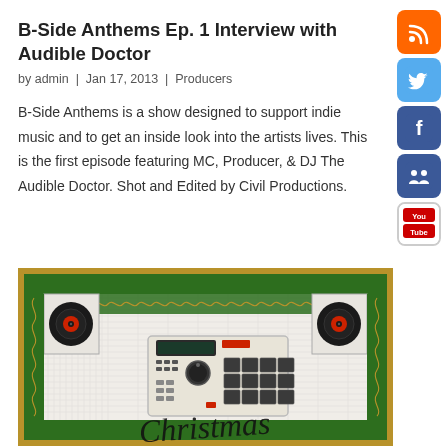B-Side Anthems Ep. 1 Interview with Audible Doctor
by admin  |  Jan 17, 2013  |  Producers
B-Side Anthems is a show designed to support indie music and to get an inside look into the artists lives. This is the first episode featuring MC, Producer, & DJ The Audible Doctor. Shot and Edited by Civil Productions.
[Figure (illustration): Decorative Christmas-themed image featuring an MPC beat machine/sampler with vinyl records in corners, green ornamental border on gold/brown background, with cursive 'Christmas' text at bottom]